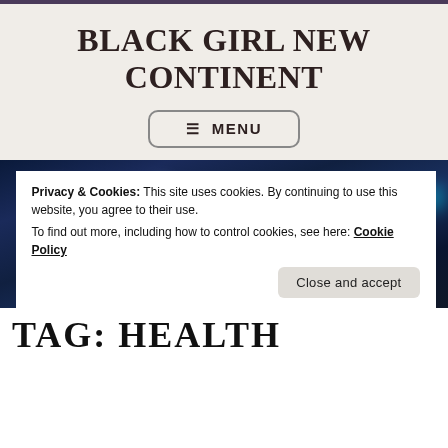BLACK GIRL NEW CONTINENT
☰ MENU
[Figure (photo): Blurred bokeh city night skyline background photo with colorful out-of-focus lights in blue, white, green, and red tones]
Privacy & Cookies: This site uses cookies. By continuing to use this website, you agree to their use.
To find out more, including how to control cookies, see here: Cookie Policy
Close and accept
TAG: HEALTH